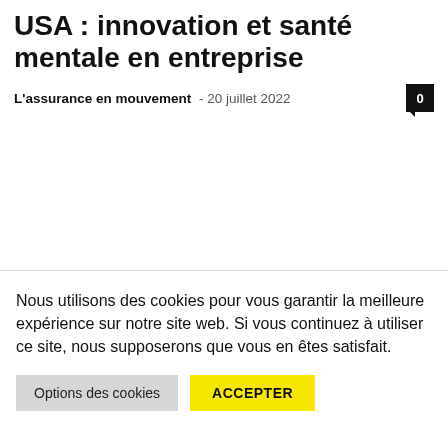USA : innovation et santé mentale en entreprise
L'assurance en mouvement - 20 juillet 2022
Nous utilisons des cookies pour vous garantir la meilleure expérience sur notre site web. Si vous continuez à utiliser ce site, nous supposerons que vous en êtes satisfait.